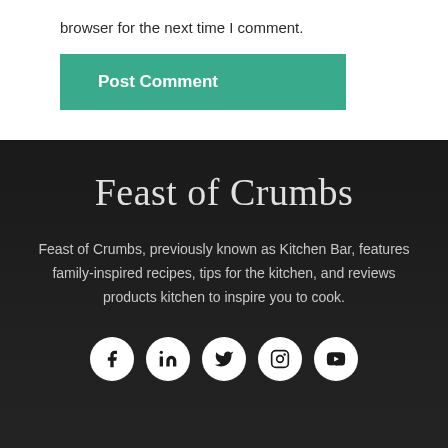browser for the next time I comment.
Post Comment
Feast of Crumbs
Feast of Crumbs, previously known as Kitchen Bar, features family-inspired recipes, tips for the kitchen, and reviews products kitchen to inspire you to cook.
[Figure (other): Social media icons: Facebook, LinkedIn, Twitter, Instagram, YouTube — white circles on dark background]